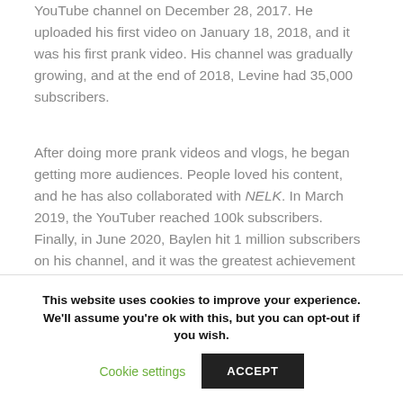YouTube channel on December 28, 2017. He uploaded his first video on January 18, 2018, and it was his first prank video. His channel was gradually growing, and at the end of 2018, Levine had 35,000 subscribers.
After doing more prank videos and vlogs, he began getting more audiences. People loved his content, and he has also collaborated with NELK. In March 2019, the YouTuber reached 100k subscribers. Finally, in June 2020, Baylen hit 1 million subscribers on his channel, and it was the greatest achievement of his life.
Currently, he has amassed over 2 million
This website uses cookies to improve your experience. We'll assume you're ok with this, but you can opt-out if you wish.